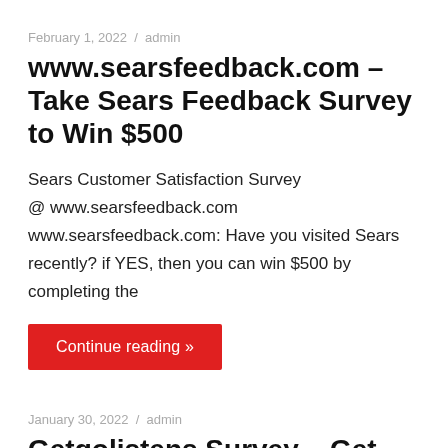February 1, 2022 / admin
www.searsfeedback.com – Take Sears Feedback Survey to Win $500
Sears Customer Satisfaction Survey @ www.searsfeedback.com www.searsfeedback.com: Have you visited Sears recently? if YES, then you can win $500 by completing the
Continue reading »
January 30, 2022 / admin
Getgolistens Survey – Get Go